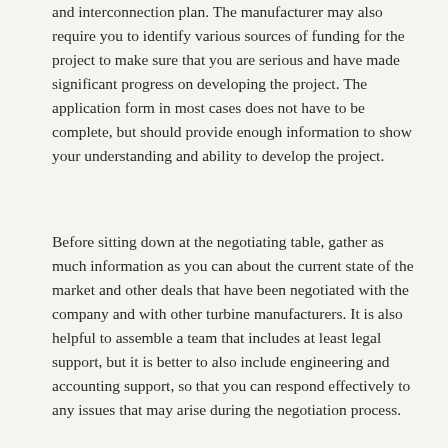and interconnection plan. The manufacturer may also require you to identify various sources of funding for the project to make sure that you are serious and have made significant progress on developing the project. The application form in most cases does not have to be complete, but should provide enough information to show your understanding and ability to develop the project.
Before sitting down at the negotiating table, gather as much information as you can about the current state of the market and other deals that have been negotiated with the company and with other turbine manufacturers. It is also helpful to assemble a team that includes at least legal support, but it is better to also include engineering and accounting support, so that you can respond effectively to any issues that may arise during the negotiation process.